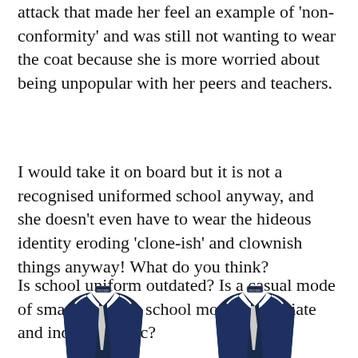attack that made her feel an example of 'non-conformity' and was still not wanting to wear the coat because she is more worried about being unpopular with her peers and teachers.
I would take it on board but it is not a recognised uniformed school anyway, and she doesn't even have to wear the hideous identity eroding 'clone-ish' and clownish things anyway! What do you think?
Is school uniform outdated? Is a casual mode of smart dress for school more appropriate and individualistic?
[Figure (photo): Two school uniform blazers/jackets displayed side by side, dark navy blue with white trim collar, partially cropped at bottom of page]